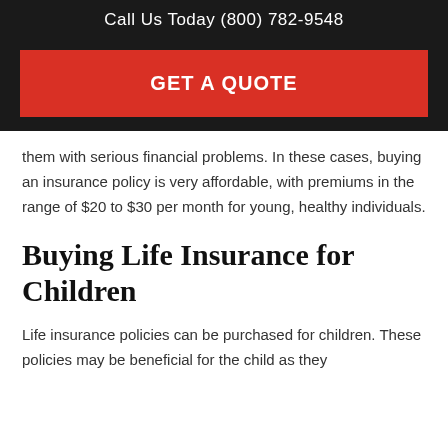Call Us Today (800) 782-9548
GET A QUOTE
them with serious financial problems. In these cases, buying an insurance policy is very affordable, with premiums in the range of $20 to $30 per month for young, healthy individuals.
Buying Life Insurance for Children
Life insurance policies can be purchased for children. These policies may be beneficial for the child as they